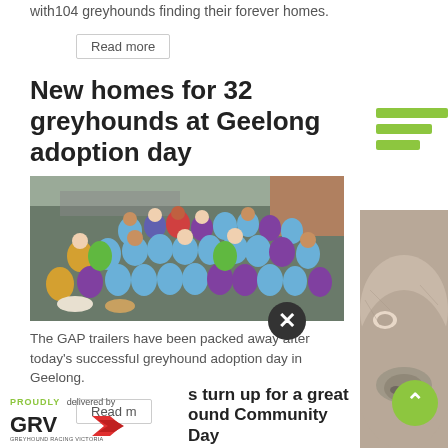with 104 greyhounds finding their forever homes.
Read more
New homes for 32 greyhounds at Geelong adoption day
[Figure (photo): Aerial group photo of a large crowd of people in blue and purple vests with greyhounds at an adoption day event in Geelong]
The GAP trailers have been packed away after today's successful greyhound adoption day in Geelong.
Read more
[Figure (logo): GRV Greyhound Racing Victoria logo with text PROUDLY delivered by above]
s turn up for a great ound Community Day